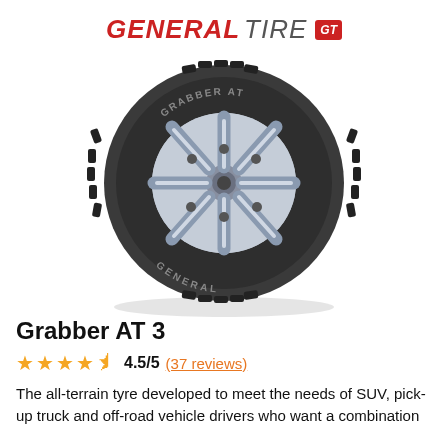[Figure (logo): General Tire logo with red GT badge]
[Figure (photo): General Tire Grabber AT3 all-terrain tyre product photo showing tread pattern and silver alloy wheel]
Grabber AT 3
★★★★½ 4.5/5 (37 reviews)
The all-terrain tyre developed to meet the needs of SUV, pick-up truck and off-road vehicle drivers who want a combination